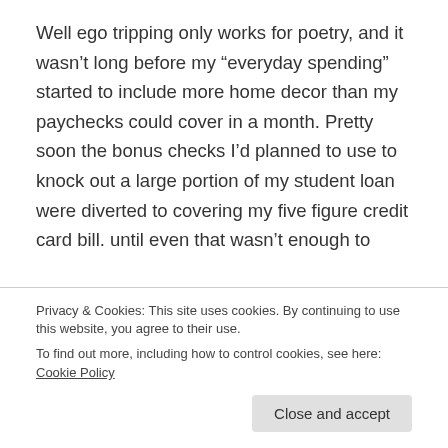Well ego tripping only works for poetry, and it wasn't long before my “everyday spending” started to include more home decor than my paychecks could cover in a month. Pretty soon the bonus checks I’d planned to use to knock out a large portion of my student loan were diverted to covering my five figure credit card bill. until even that wasn’t enough to
Privacy & Cookies: This site uses cookies. By continuing to use this website, you agree to their use. To find out more, including how to control cookies, see here: Cookie Policy
debt. The points balance that had made me giddy